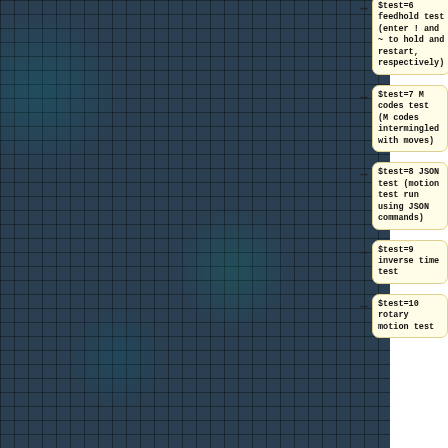[Figure (other): Dark teal/blue grid background pattern covering left ~87% of the page]
$test=6 feedhold test (enter ! and ~ to hold and restart, respectively)
$test=7  M codes test  (M codes intermingled with moves)
$test=8  JSON test    (motion test run using JSON commands)
$test=9  inverse time test
$test=10 rotary motion test